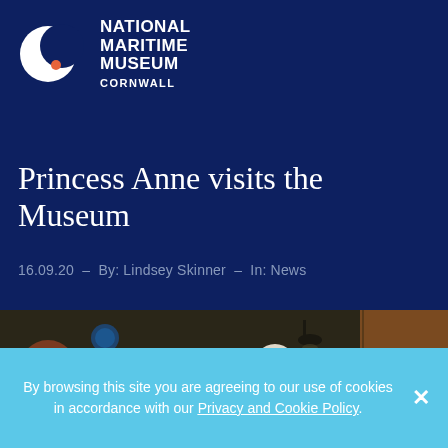[Figure (logo): National Maritime Museum Cornwall logo — white crescent moon with orange dot and white text]
Princess Anne visits the Museum
16.09.20  –  By: Lindsey Skinner  –  In: News
[Figure (photo): Indoor museum scene with several people wearing face masks gathered in conversation]
By browsing this site you are agreeing to our use of cookies in accordance with our Privacy and Cookie Policy.